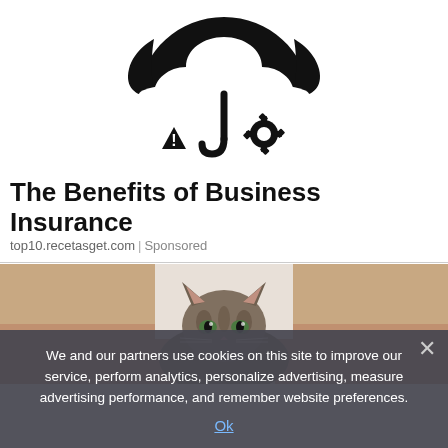[Figure (illustration): Black icon showing an umbrella with a warning triangle (exclamation mark), a hook/cane, and a gear/settings cog symbol underneath]
The Benefits of Business Insurance
top10.recetasget.com | Sponsored
[Figure (photo): A tabby cat peeking out between two human arms/hands, with a light background]
We and our partners use cookies on this site to improve our service, perform analytics, personalize advertising, measure advertising performance, and remember website preferences.
Ok